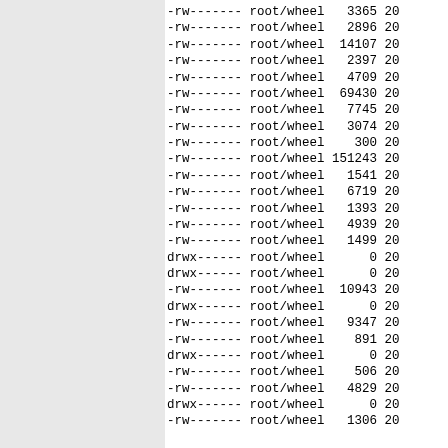-rw------- root/wheel   3365 20
-rw------- root/wheel   2896 20
-rw------- root/wheel  14107 20
-rw------- root/wheel   2397 20
-rw------- root/wheel   4709 20
-rw------- root/wheel  69430 20
-rw------- root/wheel   7745 20
-rw------- root/wheel   3074 20
-rw------- root/wheel    300 20
-rw------- root/wheel 151243 20
-rw------- root/wheel   1541 20
-rw------- root/wheel   6719 20
-rw------- root/wheel   1393 20
-rw------- root/wheel   4939 20
-rw------- root/wheel   1499 20
drwx------ root/wheel      0 20
drwx------ root/wheel      0 20
-rw------- root/wheel  10943 20
drwx------ root/wheel      0 20
-rw------- root/wheel   9347 20
-rw------- root/wheel    891 20
drwx------ root/wheel      0 20
-rw------- root/wheel    506 20
-rw------- root/wheel   4829 20
drwx------ root/wheel      0 20
-rw------- root/wheel   1306 20